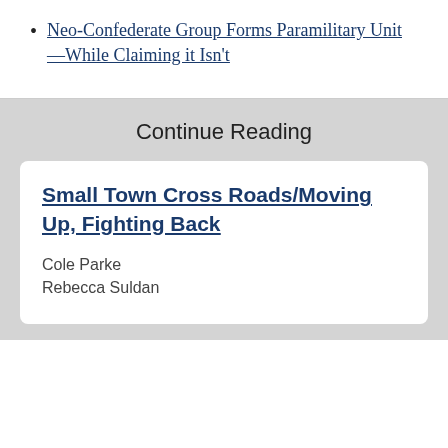Neo-Confederate Group Forms Paramilitary Unit—While Claiming it Isn't
Continue Reading
Small Town Cross Roads/Moving Up, Fighting Back
Cole Parke
Rebecca Suldan